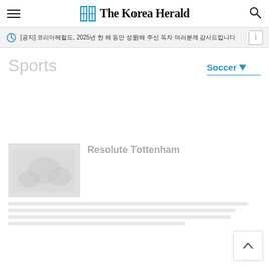The Korea Herald
[공지] 코리아헤럴드, 2025년 한 해 동안 성원해 주신 독자 여러분께 감사드립니다
Sports
Soccer
[Figure (photo): Faded/loading sports photo thumbnail]
Resolute Tottenham
Faded body text content lines